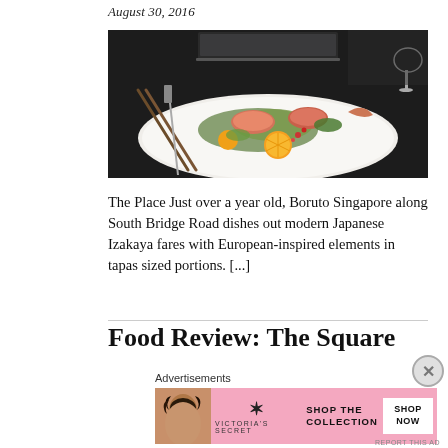August 30, 2016
[Figure (photo): A plate of modern Japanese Izakaya food with colourful salad, salmon, orange slices, and greens on a white rectangular plate. Chopsticks and a knife visible in background. Dark table setting.]
The Place Just over a year old, Boruto Singapore along South Bridge Road dishes out modern Japanese Izakaya fares with European-inspired elements in tapas sized portions. [...]
Food Review: The Square
Advertisements
[Figure (photo): Victoria's Secret advertisement banner. Pink background with a model on the left, VS logo in the center, 'SHOP THE COLLECTION' text, and a white 'SHOP NOW' button on the right.]